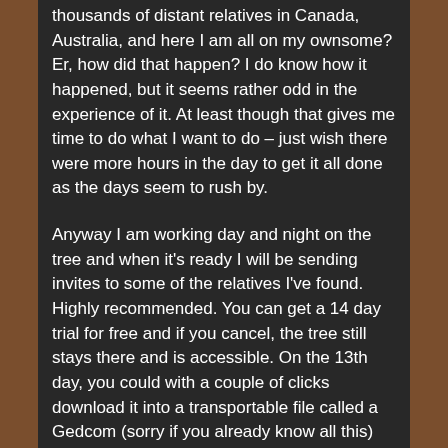thousands of distant relatives in Canada, Australia, and here I am all on my ownsome? Er, how did that happen? I do know how it happened, but it seems rather odd in the experience of it. At least though that gives me time to do what I want to do – just wish there were more hours in the day to get it all done as the days seem to rush by.
Anyway I am working day and night on the tree and when it's ready I will be sending invites to some of the relatives I've found. Highly recommended. You can get a 14 day trial for free and if you cancel, the tree still stays there and is accessible. On the 13th day, you could with a couple of clicks download it into a transportable file called a Gedcom (sorry if you already know all this) which can